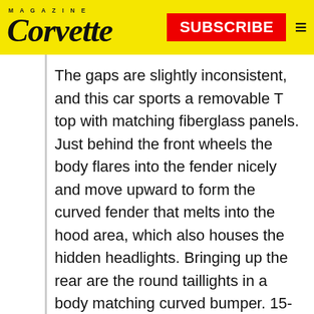Corvette Magazine — SUBSCRIBE
The gaps are slightly inconsistent, and this car sports a removable T top with matching fiberglass panels. Just behind the front wheels the body flares into the fender nicely and move upward to form the curved fender that melts into the hood area, which also houses the hidden headlights. Bringing up the rear are the round taillights in a body matching curved bumper. 15-inch polished slotted wheels are all around and are wrapped in newer Cooper Radial GT raised white letter tires. Interior Peering through the removable “t” top we see dark brown cloth upholstery